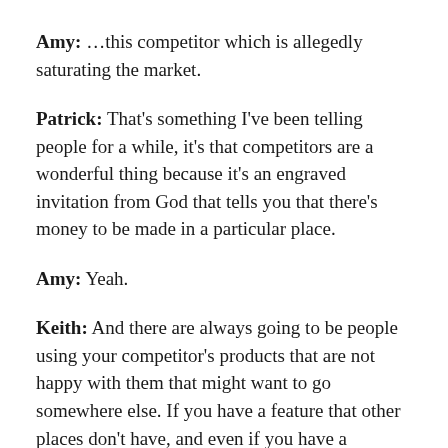Amy: ...this competitor which is allegedly saturating the market.
Patrick: That's something I've been telling people for a while, it's that competitors are a wonderful thing because it's an engraved invitation from God that tells you that there's money to be made in a particular place.
Amy: Yeah.
Keith: And there are always going to be people using your competitor's products that are not happy with them that might want to go somewhere else. If you have a feature that other places don't have, and even if you have a combination of features, so everyone else in this space might have the exact same features but they don't have them in the same combination, you then have a niche of an already proven market share that want the